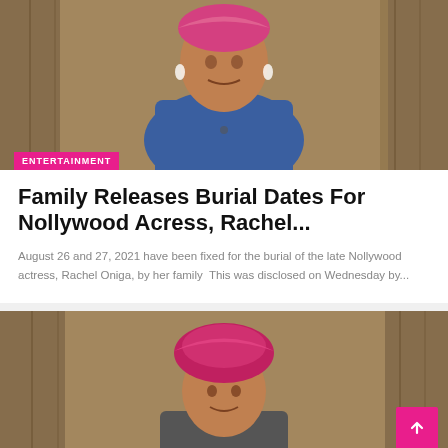[Figure (photo): Nollywood actress Rachel Oniga wearing a blue outfit and pink headwrap against a brown curtain background]
ENTERTAINMENT
Family Releases Burial Dates For Nollywood Acress, Rachel...
August 26 and 27, 2021 have been fixed for the burial of the late Nollywood actress, Rachel Oniga, by her family  This was disclosed on Wednesday by...
[Figure (photo): Person wearing a pink/red head wrap against a brown curtain background]